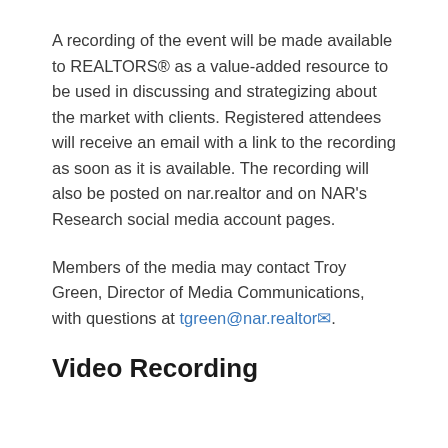A recording of the event will be made available to REALTORS® as a value-added resource to be used in discussing and strategizing about the market with clients. Registered attendees will receive an email with a link to the recording as soon as it is available. The recording will also be posted on nar.realtor and on NAR's Research social media account pages.
Members of the media may contact Troy Green, Director of Media Communications, with questions at tgreen@nar.realtor.
Video Recording